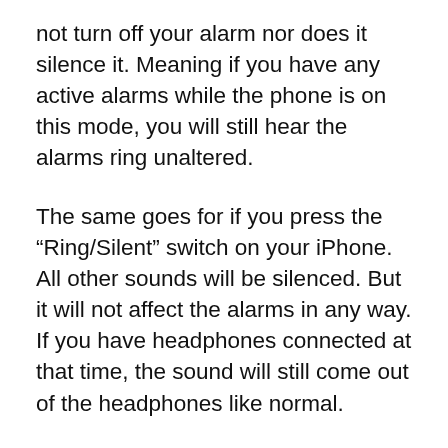not turn off your alarm nor does it silence it. Meaning if you have any active alarms while the phone is on this mode, you will still hear the alarms ring unaltered.
The same goes for if you press the “Ring/Silent” switch on your iPhone. All other sounds will be silenced. But it will not affect the alarms in any way. If you have headphones connected at that time, the sound will still come out of the headphones like normal.
Playing alarms through headphones or earbuds can be very useful, especially if you use them constantly. Hopefully, now you understand how the alarm in iPhone works just a little bit better.